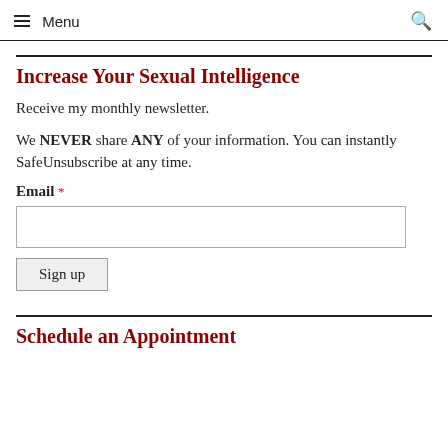Menu
Increase Your Sexual Intelligence
Receive my monthly newsletter.
We NEVER share ANY of your information. You can instantly SafeUnsubscribe at any time.
Email *
Schedule an Appointment